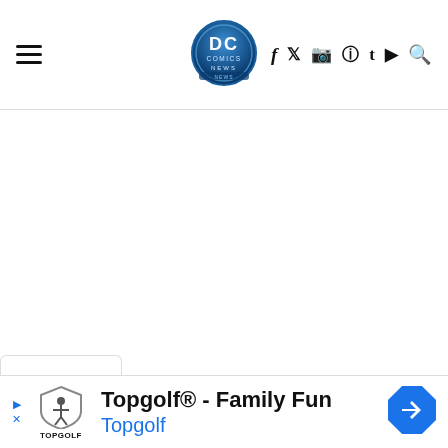DC Comics News — site header with hamburger menu, logo, social icons (f, twitter, instagram, pinterest, t, youtube, search)
[Figure (screenshot): Empty white content area below the site header]
[Figure (other): Collapse/chevron tab at bottom of content area]
[Figure (other): Advertisement banner: Topgolf logo, text 'Topgolf® - Family Fun', subtitle 'Topgolf' in blue, blue diamond navigation arrow icon on right]